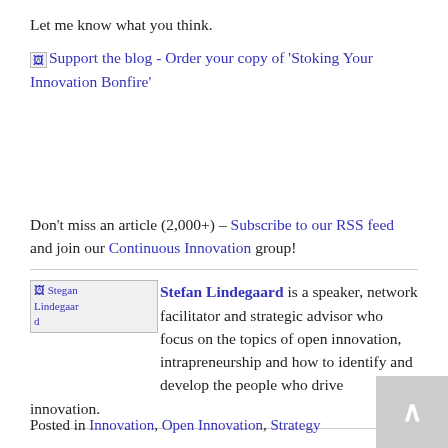Let me know what you think.
[Figure (other): Broken image placeholder with link text: Support the blog - Order your copy of 'Stoking Your Innovation Bonfire']
Don't miss an article (2,000+) – Subscribe to our RSS feed and join our Continuous Innovation group!
[Figure (photo): Broken image placeholder labeled 'Stegan Lindegaard' (author photo)]
Stefan Lindegaard is a speaker, network facilitator and strategic advisor who focus on the topics of open innovation, intrapreneurship and how to identify and develop the people who drive innovation.
Posted in Innovation, Open Innovation, Strategy